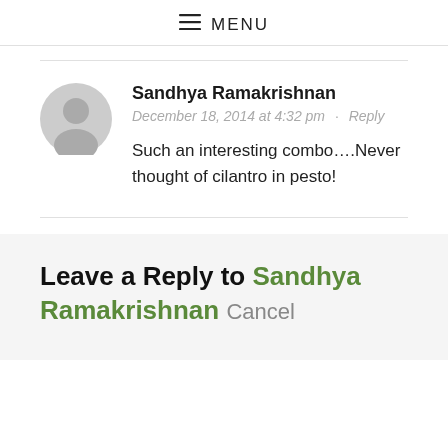☰ MENU
Sandhya Ramakrishnan
December 18, 2014 at 4:32 pm · Reply
Such an interesting combo….Never thought of cilantro in pesto!
Leave a Reply to Sandhya Ramakrishnan Cancel